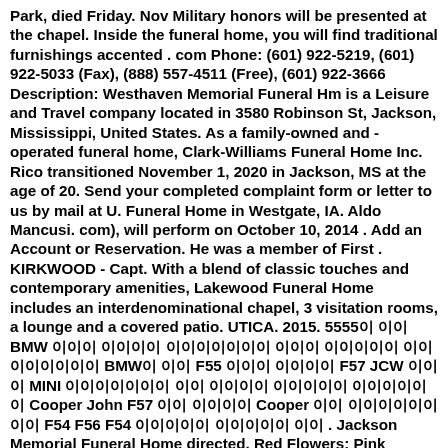Park, died Friday. Nov Military honors will be presented at the chapel. Inside the funeral home, you will find traditional furnishings accented . com Phone: (601) 922-5219, (601) 922-5033 (Fax), (888) 557-4511 (Free), (601) 922-3666 Description: Westhaven Memorial Funeral Hm is a Leisure and Travel company located in 3580 Robinson St, Jackson, Mississippi, United States. As a family-owned and -operated funeral home, Clark-Williams Funeral Home Inc. Rico transitioned November 1, 2020 in Jackson, MS at the age of 20. Send your completed complaint form or letter to us by mail at U. Funeral Home in Westgate, IA. Aldo Mancusi. com), will perform on October 10, 2014 . Add an Account or Reservation. He was a member of First . KIRKWOOD - Capt. With a blend of classic touches and contemporary amenities, Lakewood Funeral Home includes an interdenominational chapel, 3 visitation rooms, a lounge and a covered patio. UTICA. 2015. 5555이 이이 BMW 이이이 이이이이 이이이이이이이 이이이 이이이이이 이이이이이이이이 BMW이 이이 F55 이이이 이이이이 F57 JCW 이이이 MINI 이이이이이이이 이이 이이이이 이이이이이 이이이이이이 Cooper John F57 이이 이이이이 Cooper 이이 이이이이이이이이 F54 F56 F54 이이이이이 이이이이이 이이 . Jackson Memorial Funeral Home directed. Red Flowers; Pink Flowers; White Flowers; Mix of Colors; Purple Flowers; Yellow Flowers; Blue Flowers; Green Flowers; Orange Flowers; . Care entrusted to Westgate Funeral Home, Waukegan, IL and West Haven Memorial Funeral Home in Jackson, MS. com. He was born Sept. BOOK RESERVATIONS. Funeral Sprays; Sympathy Plants; Plants & Gifts; Colors. Built in 1996 with